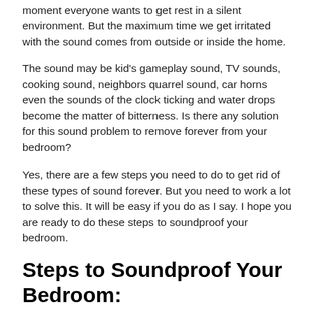moment everyone wants to get rest in a silent environment. But the maximum time we get irritated with the sound comes from outside or inside the home.
The sound may be kid's gameplay sound, TV sounds, cooking sound, neighbors quarrel sound, car horns even the sounds of the clock ticking and water drops become the matter of bitterness. Is there any solution for this sound problem to remove forever from your bedroom?
Yes, there are a few steps you need to do to get rid of these types of sound forever. But you need to work a lot to solve this. It will be easy if you do as I say. I hope you are ready to do these steps to soundproof your bedroom.
Steps to Soundproof Your Bedroom: